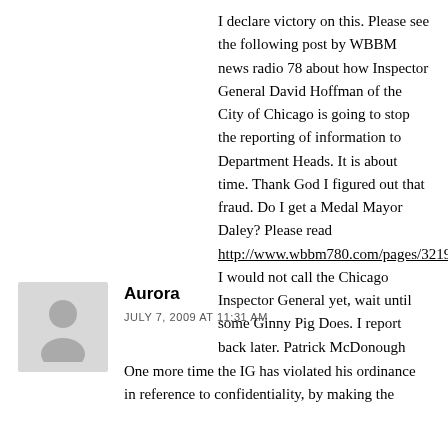I declare victory on this. Please see the following post by WBBM news radio 78 about how Inspector General David Hoffman of the City of Chicago is going to stop the reporting of information to Department Heads. It is about time. Thank God I figured out that fraud. Do I get a Medal Mayor Daley? Please read http://www.wbbm780.com/pages/32192.php I would not call the Chicago Inspector General yet, wait until some Ginny Pig Does. I report back later. Patrick McDonough
Aurora
JULY 7, 2009 AT 11:31 AM
One more time the IG has violated his ordinance in reference to confidentiality, by making the